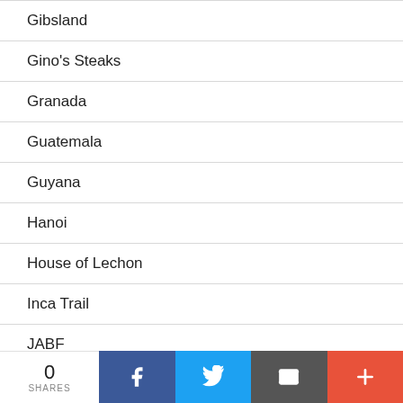Gibsland
Gino's Steaks
Granada
Guatemala
Guyana
Hanoi
House of Lechon
Inca Trail
JABF
Jamaica
0 SHARES | Facebook | Twitter | Email | More